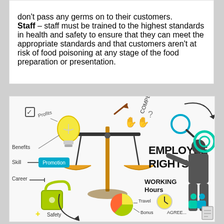don't pass any germs on to their customers. Staff – staff must be trained to the highest standards in health and safety to ensure that they can meet the appropriate standards and that customers aren't at risk of food poisoning at any stage of the food preparation or presentation.
[Figure (illustration): An infographic illustration about employee rights, featuring a balance/scales of justice, a person writing on a board, and hand-drawn doodles including a lightbulb (Profits), Benefits, Skill, Promotion, Career, Safety, lock, gears, magnifying glass, Compensation, Working Hours, Bonus, Travel, Agreement labels.]